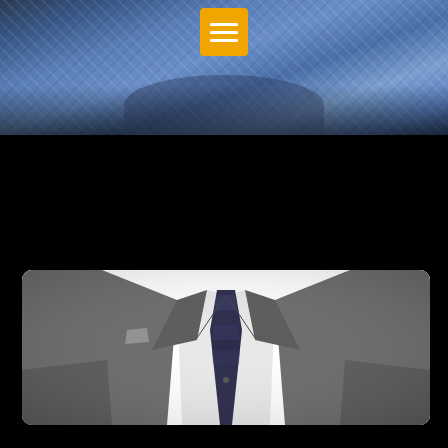[Figure (photo): Top portion of a person wearing a blue patterned shirt, partially visible, with dark background. A yellow/orange menu icon (hamburger button) is overlaid at the top center.]
[Figure (photo): A person wearing a grey suit jacket with a dark navy tie and white dress shirt, shown from neck/shoulders down to waist, against a white background, with rounded-corner photo frame.]